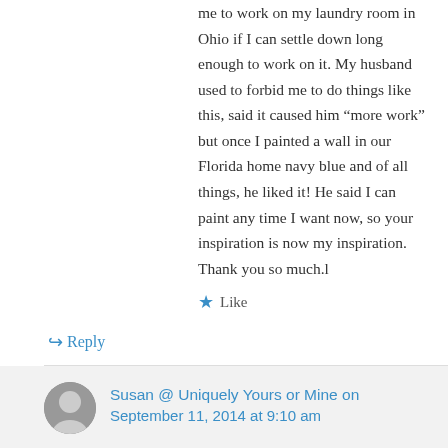me to work on my laundry room in Ohio if I can settle down long enough to work on it. My husband used to forbid me to do things like this, said it caused him “more work” but once I painted a wall in our Florida home navy blue and of all things, he liked it! He said I can paint any time I want now, so your inspiration is now my inspiration. Thank you so much.l
★ Like
↳ Reply
Susan @ Uniquely Yours or Mine on September 11, 2014 at 9:10 am
What a wonderful story Georgie, thanks for sharing it with me and I so glad to have